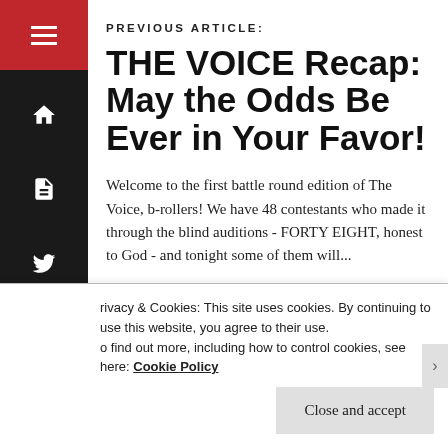PREVIOUS ARTICLE:
THE VOICE Recap: May the Odds Be Ever in Your Favor!
Welcome to the first battle round edition of The Voice, b-rollers! We have 48 contestants who made it through the blind auditions - FORTY EIGHT, honest to God - and tonight some of them will...
Privacy & Cookies: This site uses cookies. By continuing to use this website, you agree to their use. To find out more, including how to control cookies, see here: Cookie Policy
Close and accept